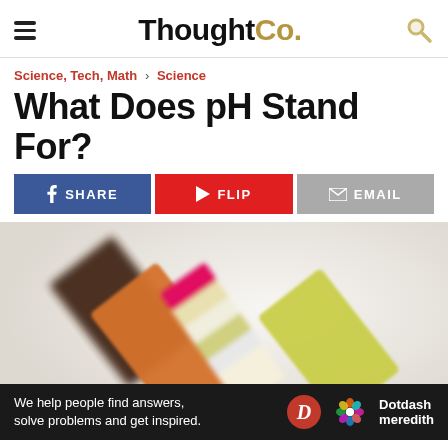ThoughtCo.
Science, Tech, Math › Science
What Does pH Stand For?
SHARE   FLIP   EMAIL
[Figure (photo): pH indicator test strips in various colors (orange, yellow-green, pink/magenta) fanned out against a light background]
We help people find answers, solve problems and get inspired.
Dotdash meredith